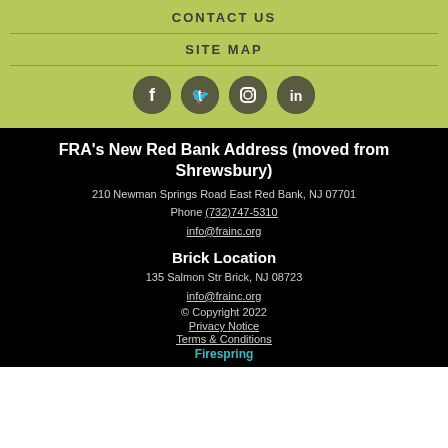CONTACT US
SITE MAP
[Figure (infographic): Four circular social media icons: Facebook, Twitter, Instagram, LinkedIn]
FRA's New Red Bank Address (moved from Shrewsbury)
210 Newman Springs Road East Red Bank, NJ 07701
Phone (732)747-5310
info@frainc.org
Brick Location
135 Salmon Str Brick, NJ 08723
info@frainc.org
© Copyright 2022
Privacy Notice
Terms & Conditions
Firespring